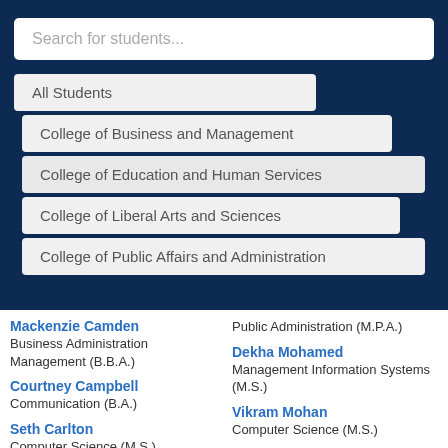Search for students...
All Students
College of Business and Management
College of Education and Human Services
College of Liberal Arts and Sciences
College of Public Affairs and Administration
Mackenzie Camden
Business Administration Management (B.B.A.)
Courtney Campbell
Communication (B.A.)
Seth Carlton
Computer Science (M.S.)
Public Administration (M.P.A.)
Dekha Mohamed
Management Information Systems (M.S.)
Vikram Mohan
Computer Science (M.S.)
Diana Mondragon